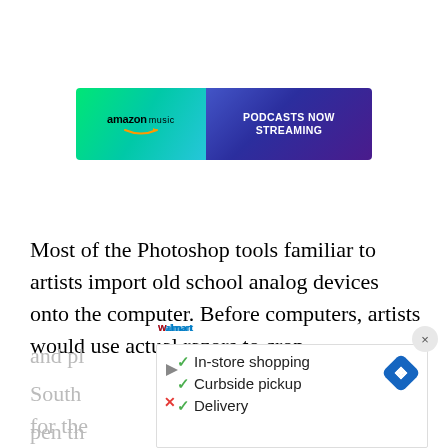[Figure (screenshot): Amazon Music advertisement banner with green-to-purple gradient. Left side shows 'amazon music' logo with smile arrow on green background. Right side shows 'PODCASTS NOW STREAMING' in white bold text on purple/blue background.]
Most of the Photoshop tools familiar to artists import old school analog devices onto the computer. Before computers, artists would use actual razors to crop, and pl... But South ... ed a pen th... eloped for the... y
[Figure (screenshot): Overlay popup panel showing: checkmark list with 'In-store shopping', 'Curbside pickup', 'Delivery'. Walmart logo visible. Navigation arrow diamond icon on right. Close X button at top right of overlay area. Play and X icons at bottom left.]